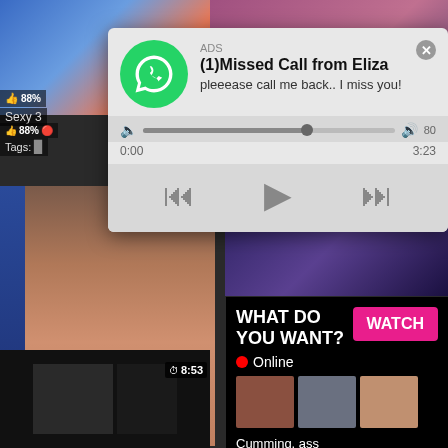[Figure (screenshot): Ad popup overlay showing a WhatsApp-style missed call notification with phone icon, message '(1)Missed Call from Eliza - pleeease call me back.. I miss you!', audio player with progress bar and playback controls (rewind, play, fast-forward)]
ADS
(1)Missed Call from Eliza
pleeease call me back.. I miss you!
0:00
3:23
[Figure (screenshot): Adult content advertisement overlay with black background showing 'WHAT DO YOU WANT?' text, pink WATCH button, red Online indicator, three small thumbnail images, and text 'Cumming, ass fucking, squirt or... • ADS']
WHAT DO YOU WANT?
WATCH
Online
Cumming, ass fucking, squirt or...
• ADS
Sexy 3
88%
Tags:
Busty
81%
Tags:
lick
slut
suck
8:53
13:57
23:11